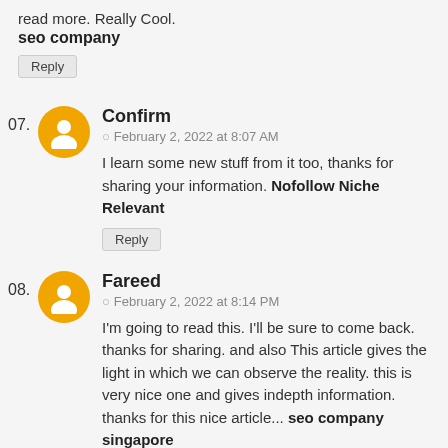read more. Really Cool.
seo company
Reply
07. Confirm — February 2, 2022 at 8:07 AM — I learn some new stuff from it too, thanks for sharing your information. Nofollow Niche Relevant — Reply
08. Fareed — February 2, 2022 at 8:14 PM — I'm going to read this. I'll be sure to come back. thanks for sharing. and also This article gives the light in which we can observe the reality. this is very nice one and gives indepth information. thanks for this nice article... seo company singapore — Reply